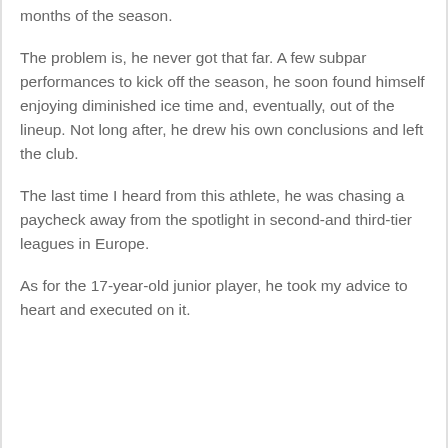months of the season.
The problem is, he never got that far. A few subpar performances to kick off the season, he soon found himself enjoying diminished ice time and, eventually, out of the lineup. Not long after, he drew his own conclusions and left the club.
The last time I heard from this athlete, he was chasing a paycheck away from the spotlight in second-and third-tier leagues in Europe.
As for the 17-year-old junior player, he took my advice to heart and executed on it.